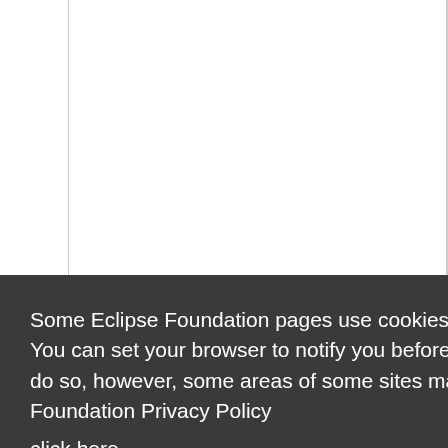| + | distribute their SDK's for inclusion into the WTK? |
| + | ** How can we minimize the effort for SDK vendors to support both, |
Some Eclipse Foundation pages use cookies to better serve you when you return to the site. You can set your browser to notify you before you receive a cookie or turn off cookies. If you do so, however, some areas of some sites may not function properly. To read Eclipse Foundation Privacy Policy
click here.
Decline
Allow cookies